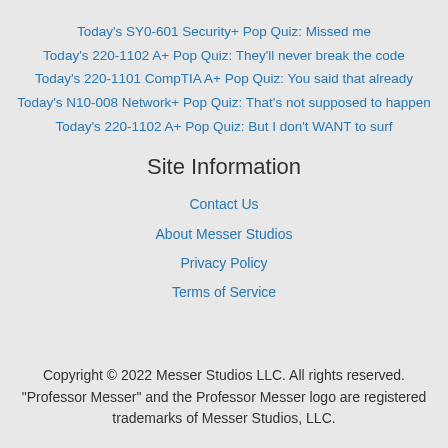Today's SY0-601 Security+ Pop Quiz: Missed me
Today's 220-1102 A+ Pop Quiz: They'll never break the code
Today's 220-1101 CompTIA A+ Pop Quiz: You said that already
Today's N10-008 Network+ Pop Quiz: That's not supposed to happen
Today's 220-1102 A+ Pop Quiz: But I don't WANT to surf
Site Information
Contact Us
About Messer Studios
Privacy Policy
Terms of Service
Copyright © 2022 Messer Studios LLC. All rights reserved. "Professor Messer" and the Professor Messer logo are registered trademarks of Messer Studios, LLC.